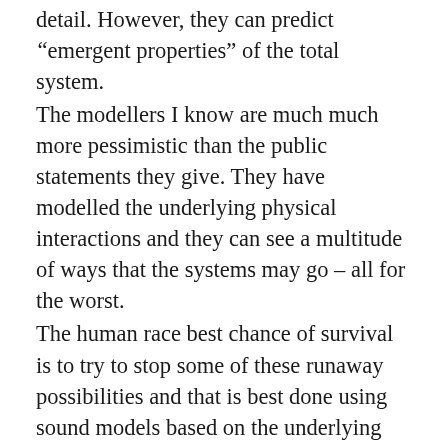detail. However, they can predict “emergent properties” of the total system.
The modellers I know are much much more pessimistic than the public statements they give. They have modelled the underlying physical interactions and they can see a multitude of ways that the systems may go – all for the worst.
The human race best chance of survival is to try to stop some of these runaway possibilities and that is best done using sound models based on the underlying basic interactions.
My plea is for economists to take a good look at any of the natural sciences most successful modellers and to emulate them and please please do not use historical data as the basis for